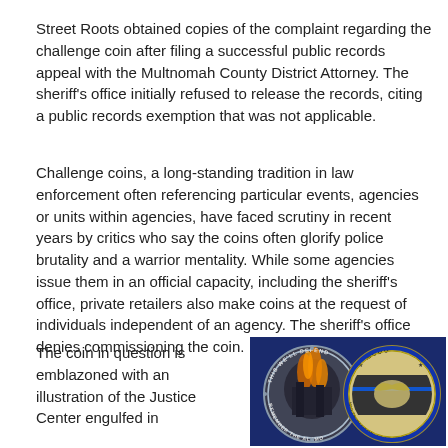Street Roots obtained copies of the complaint regarding the challenge coin after filing a successful public records appeal with the Multnomah County District Attorney. The sheriff's office initially refused to release the records, citing a public records exemption that was not applicable.
Challenge coins, a long-standing tradition in law enforcement often referencing particular events, agencies or units within agencies, have faced scrutiny in recent years by critics who say the coins often glorify police brutality and a warrior mentality. While some agencies issue them in an official capacity, including the sheriff's office, private retailers also make coins at the request of individuals independent of an agency. The sheriff's office denies commissioning the coin.
The coin in question is emblazoned with an illustration of the Justice Center engulfed in
[Figure (photo): Two challenge coins photographed against a dark blue background. Left coin: circular, showing an illustration of the Justice Center engulfed in flames with text 'THIS WE'LL DEFEND' at top and 'REMEMBER THE ALAMO' at bottom. Right coin: circular, showing an eagle over a thin blue line American flag design with text 'MCDC', 'MULTNOMAH COUNTY SHERIFF', 'SEMPER PARATUS', and 'MCSO' around the edge.]